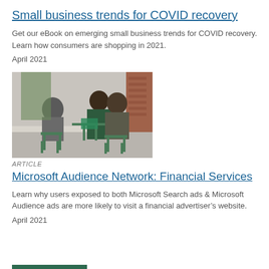Small business trends for COVID recovery
Get our eBook on emerging small business trends for COVID recovery. Learn how consumers are shopping in 2021.
April 2021
[Figure (photo): Outdoor cafe scene with people sitting on green chairs at tables, viewed from behind]
ARTICLE
Microsoft Audience Network: Financial Services
Learn why users exposed to both Microsoft Search ads & Microsoft Audience ads are more likely to visit a financial advertiser’s website.
April 2021